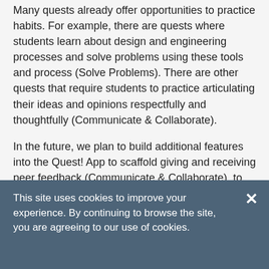Many quests already offer opportunities to practice habits. For example, there are quests where students learn about design and engineering processes and solve problems using these tools and process (Solve Problems). There are other quests that require students to practice articulating their ideas and opinions respectfully and thoughtfully (Communicate & Collaborate).
In the future, we plan to build additional features into the Quest! App to scaffold giving and receiving peer feedback (Communicate & Collaborate), to encourage students to share their artifacts through public portfolios (Live an Integrated Life), and to provide tools
This site uses cookies to improve your experience. By continuing to browse the site, you are agreeing to our use of cookies.